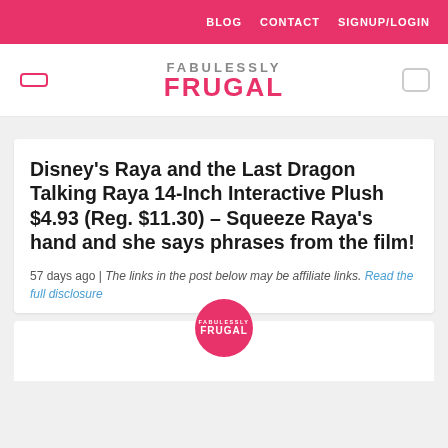BLOG  CONTACT  SIGNUP/LOGIN
[Figure (logo): Fabulessly Frugal logo with hamburger menu icon and search icon]
Disney's Raya and the Last Dragon Talking Raya 14-Inch Interactive Plush $4.93 (Reg. $11.30) – Squeeze Raya's hand and she says phrases from the film!
57 days ago | The links in the post below may be affiliate links. Read the full disclosure
[Figure (logo): Fabulessly Frugal circular watermark logo in pink]